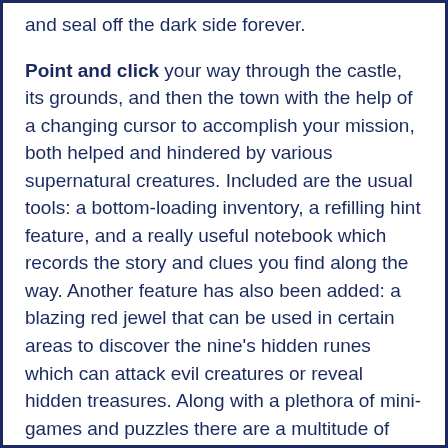and seal off the dark side forever.
Point and click your way through the castle, its grounds, and then the town with the help of a changing cursor to accomplish your mission, both helped and hindered by various supernatural creatures. Included are the usual tools: a bottom-loading inventory, a refilling hint feature, and a really useful notebook which records the story and clues you find along the way. Another feature has also been added: a blazing red jewel that can be used in certain areas to discover the nine's hidden runes which can attack evil creatures or reveal hidden treasures. Along with a plethora of mini-games and puzzles there are a multitude of hidden object scenes to plow through which feature many different types of interactivity. The standard sparks, sparkles, and hints will help you along your way depending upon which mode you play.